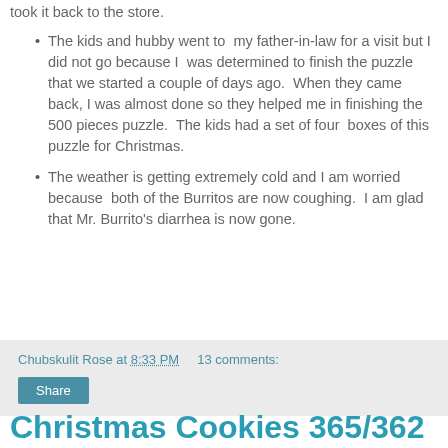took it back to the store.
The kids and hubby went to  my father-in-law for a visit but I did not go because I  was determined to finish the puzzle that we started a couple of days ago.  When they came back, I was almost done so they helped me in finishing the 500 pieces puzzle.  The kids had a set of four  boxes of this puzzle for Christmas.
The weather is getting extremely cold and I am worried because  both of the Burritos are now coughing.  I am glad that Mr. Burrito's diarrhea is now gone.
Chubskulit Rose at 8:33 PM    13 comments:
Share
Christmas Cookies 365/362